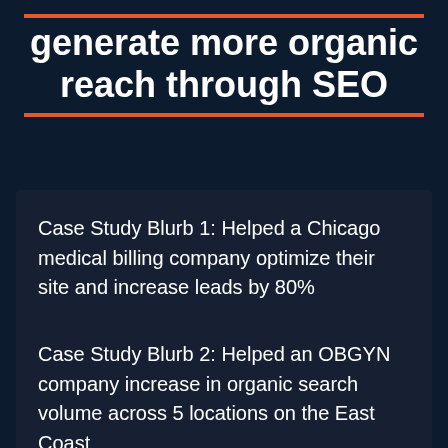generate more organic reach through SEO
Case Study Blurb 1: Helped a Chicago medical billing company optimize their site and increase leads by 80%
Case Study Blurb 2: Helped an OBGYN company increase in organic search volume across 5 locations on the East Coast